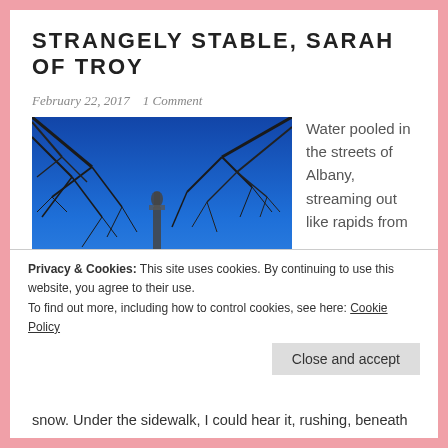STRANGELY STABLE, SARAH OF TROY
February 22, 2017   1 Comment
[Figure (photo): A photograph looking up at a tall column monument with a statue on top, framed by bare tree branches against a bright blue sky in Albany.]
Water pooled in the streets of Albany, streaming out like rapids from
Privacy & Cookies: This site uses cookies. By continuing to use this website, you agree to their use.
To find out more, including how to control cookies, see here: Cookie Policy
snow. Under the sidewalk, I could hear it, rushing, beneath